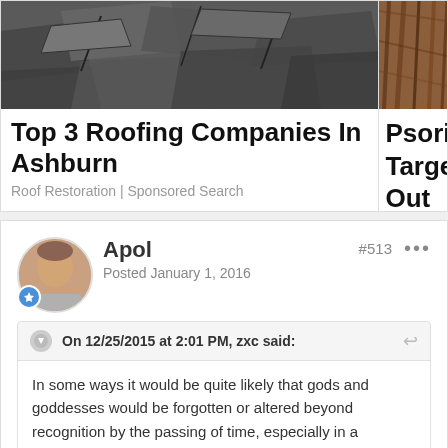[Figure (photo): Cracked/broken asphalt roof shingles]
Top 3 Roofing Companies In Ashburn
Roof Restoration | Sponsored Search
[Figure (photo): Close-up of brown/auburn hair (partially visible, cropped on right)]
Psoriasis Bio Targeted Ther Out
Psoriasis | Search A
Apol
Posted January 1, 2016
#513
On 12/25/2015 at 2:01 PM, zxc said:
In some ways it would be quite likely that gods and goddesses would be forgotten or altered beyond recognition by the passing of time, especially in a forgotten history such as the OL. However, so many things do instantly leap at one as matches for other mythology.